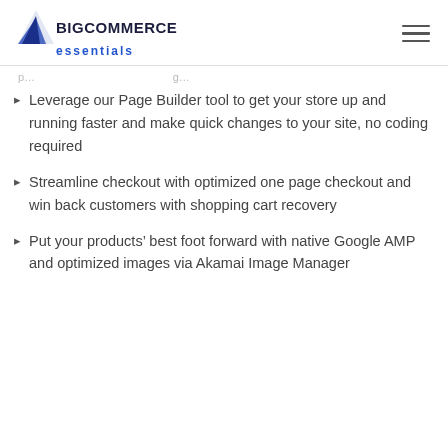BIGCOMMERCE essentials
Leverage our Page Builder tool to get your store up and running faster and make quick changes to your site, no coding required
Streamline checkout with optimized one page checkout and win back customers with shopping cart recovery
Put your products' best foot forward with native Google AMP and optimized images via Akamai Image Manager